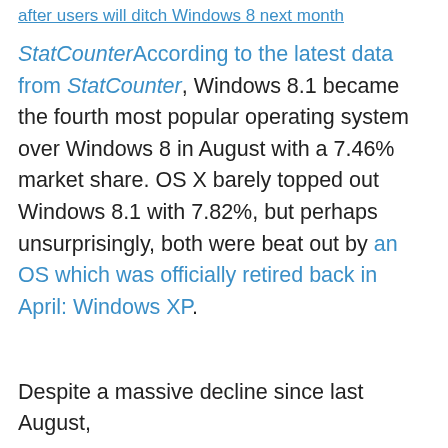after users will ditch Windows 8 next month
According to the latest data from StatCounter, Windows 8.1 became the fourth most popular operating system over Windows 8 in August with a 7.46% market share. OS X barely topped out Windows 8.1 with 7.82%, but perhaps unsurprisingly, both were beat out by an OS which was officially retired back in April: Windows XP.
Despite a massive decline since last August,